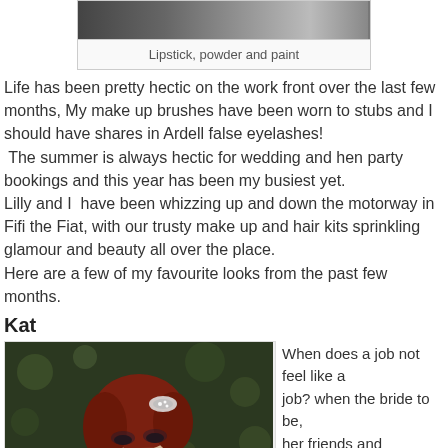[Figure (photo): Partial photo of two people, cropped at top, visible at the very top of the page]
Lipstick, powder and paint
Life has been pretty hectic on the work front over the last few months, My make up brushes have been worn to stubs and I should have shares in Ardell false eyelashes!
 The summer is always hectic for wedding and hen party bookings and this year has been my busiest yet.
Lilly and I  have been whizzing up and down the motorway in Fifi the Fiat, with our trusty make up and hair kits sprinkling glamour and beauty all over the place.
Here are a few of my favourite looks from the past few months.
Kat
[Figure (photo): Portrait photo of a red-haired woman looking down, wearing a decorative hair accessory, with a bokeh green background]
When does a job not feel like a job? when the bride to be, her friends and family are so lovely